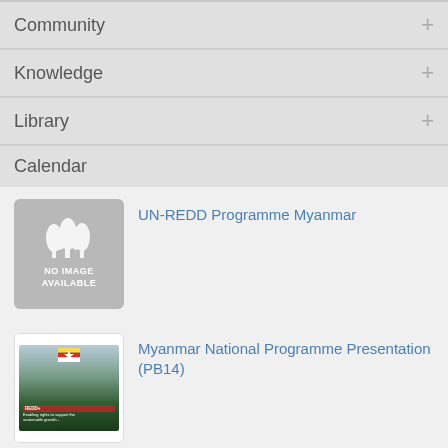Community
Knowledge
Library
Calendar
[Figure (illustration): No image available placeholder with tree icon]
UN-REDD Programme Myanmar
[Figure (screenshot): Myanmar National Programme Presentation thumbnail with landscape and flag]
Myanmar National Programme Presentation (PB14)
[Figure (screenshot): Document thumbnail for Targeted Support Myanmar]
Targeted Support Myanmar 1st request Response Feb